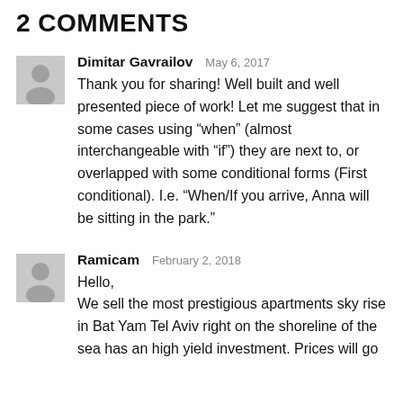2 COMMENTS
Dimitar Gavrailov   May 6, 2017
Thank you for sharing! Well built and well presented piece of work! Let me suggest that in some cases using “when” (almost interchangeable with “if”) they are next to, or overlapped with some conditional forms (First conditional). I.e. “When/If you arrive, Anna will be sitting in the park.”
Ramicam   February 2, 2018
Hello,
We sell the most prestigious apartments sky rise in Bat Yam Tel Aviv right on the shoreline of the sea has an high yield investment. Prices will go